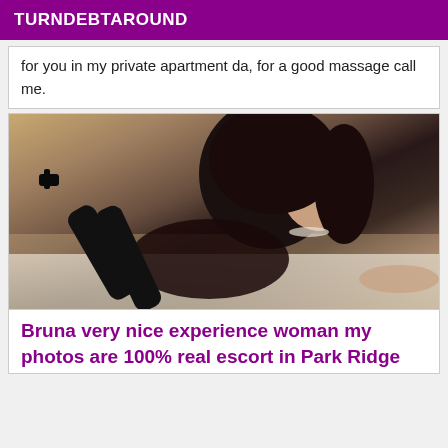TURNDEBTAROUND
for you in my private apartment da, for a good massage call me.
[Figure (photo): Woman with dark curly hair posing on a couch wearing black lace lingerie and black heels]
Bruna very nice experience woman my photos are 100% real escort in Park Ridge